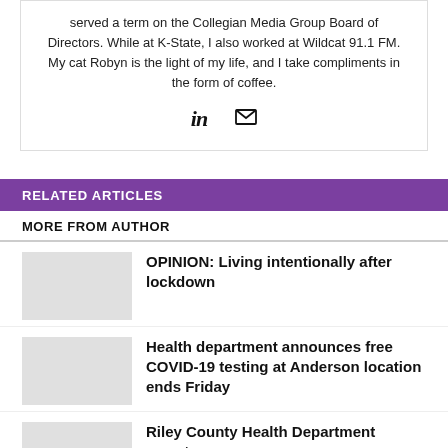served a term on the Collegian Media Group Board of Directors. While at K-State, I also worked at Wildcat 91.1 FM. My cat Robyn is the light of my life, and I take compliments in the form of coffee.
[Figure (illustration): LinkedIn and email social media icons]
RELATED ARTICLES
MORE FROM AUTHOR
OPINION: Living intentionally after lockdown
Health department announces free COVID-19 testing at Anderson location ends Friday
Riley County Health Department reports